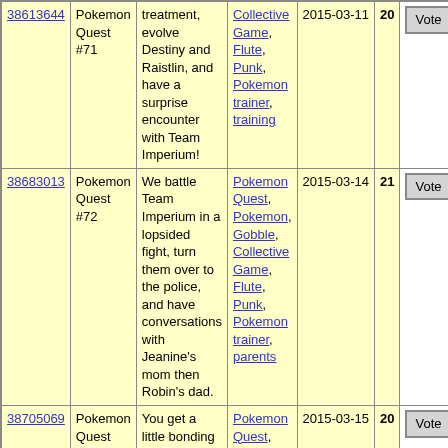| ID | Name | Description | Tags | Date | Votes | Action |
| --- | --- | --- | --- | --- | --- | --- |
| 38613644 | Pokemon Quest #71 | treatment, evolve Destiny and Raistlin, and have a surprise encounter with Team Imperium! | Collective Game, Flute, Punk, Pokemon trainer, training | 2015-03-11 | 20 | Vote |
| 38683013 | Pokemon Quest #72 | We battle Team Imperium in a lopsided fight, turn them over to the police, and have conversations with Jeanine's mom then Robin's dad. | Pokemon Quest, Pokemon, Gobble, Collective Game, Flute, Punk, Pokemon trainer, parents | 2015-03-14 | 21 | Vote |
| 38705069 | Pokemon Quest #73 | You get a little bonding time with your Pokemon and Sneasel, tell the police about Robert's threats, evolve Nibbles and start the gym | Pokemon Quest, Pokemon, Gobble, Collective Game, Flute, Punk, Pokemon trainer, | 2015-03-15 | 20 | Vote |